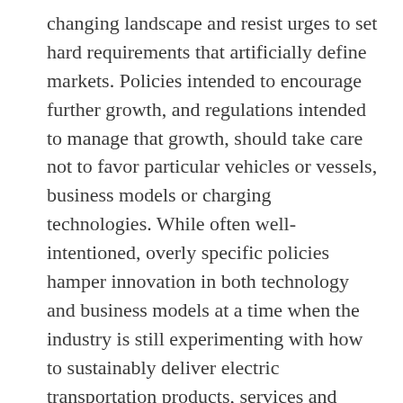changing landscape and resist urges to set hard requirements that artificially define markets. Policies intended to encourage further growth, and regulations intended to manage that growth, should take care not to favor particular vehicles or vessels, business models or charging technologies. While often well-intentioned, overly specific policies hamper innovation in both technology and business models at a time when the industry is still experimenting with how to sustainably deliver electric transportation products, services and value.
Electrification will have a dramatic impact on the transportation system and will benefit all Americans, whether they own an electric vehicle or not. To ensure that the US maximizes the